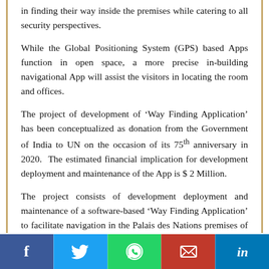in finding their way inside the premises while catering to all security perspectives.
While the Global Positioning System (GPS) based Apps function in open space, a more precise in-building navigational App will assist the visitors in locating the room and offices.
The project of development of 'Way Finding Application' has been conceptualized as donation from the Government of India to UN on the occasion of its 75th anniversary in 2020. The estimated financial implication for development deployment and maintenance of the App is $ 2 Million.
The project consists of development deployment and maintenance of a software-based 'Way Finding Application' to facilitate navigation in the Palais des Nations premises of UNLG. The application will enable users to find their way from point to point within the 21 floors spread across five buildings of UNOG. The App